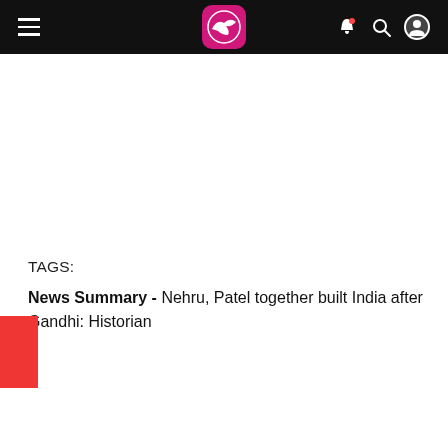Navigation bar with hamburger menu, logo, and icons (bell, search, account)
TAGS:
News Summary - Nehru, Patel together built India after Gandhi: Historian